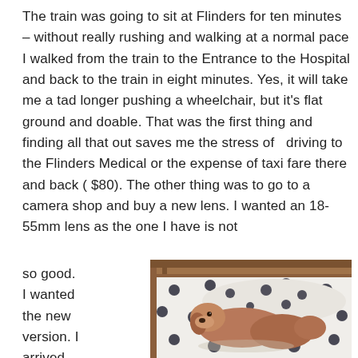The train was going to sit at Flinders for ten minutes – without really rushing and walking at a normal pace I walked from the train to the Entrance to the Hospital and back to the train in eight minutes. Yes, it will take me a tad longer pushing a wheelchair, but it's flat ground and doable. That was the first thing and finding all that out saves me the stress of  driving to the Flinders Medical or the expense of taxi fare there and back ( $80). The other thing was to go to a camera shop and buy a new lens. I wanted an 18-55mm lens as the one I have is not
so good. I wanted the new version. I arrived at the
[Figure (photo): A small brown/tan dog resting on a white pillow or bedding with large dark navy polka dots, inside what appears to be a wooden crib or bed frame. The dog is lying curled facing left.]